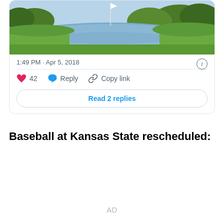[Figure (screenshot): Screenshot of a tweet card showing a golf course image with a lake and green fairway, timestamp '1:49 PM · Apr 5, 2018', an info icon, 42 likes (heart icon), Reply button, Copy link button, and a 'Read 2 replies' button.]
Baseball at Kansas State rescheduled:
AD